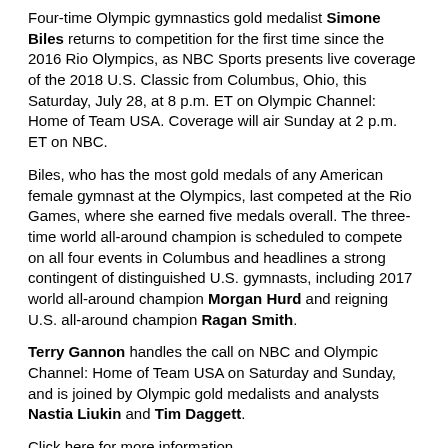Four-time Olympic gymnastics gold medalist Simone Biles returns to competition for the first time since the 2016 Rio Olympics, as NBC Sports presents live coverage of the 2018 U.S. Classic from Columbus, Ohio, this Saturday, July 28, at 8 p.m. ET on Olympic Channel: Home of Team USA. Coverage will air Sunday at 2 p.m. ET on NBC.
Biles, who has the most gold medals of any American female gymnast at the Olympics, last competed at the Rio Games, where she earned five medals overall. The three-time world all-around champion is scheduled to compete on all four events in Columbus and headlines a strong contingent of distinguished U.S. gymnasts, including 2017 world all-around champion Morgan Hurd and reigning U.S. all-around champion Ragan Smith.
Terry Gannon handles the call on NBC and Olympic Channel: Home of Team USA on Saturday and Sunday, and is joined by Olympic gold medalists and analysts Nastia Liukin and Tim Daggett.
Click here for more information.
OLYMPIC MEDALISTS GREG VAN AVERMAET & CHRIS FROOME HEADLINE LIVE COVERAGE OF THE 105TH TOUR DE FRANCE THIS WEEK ACROSS NBC SPORTS &